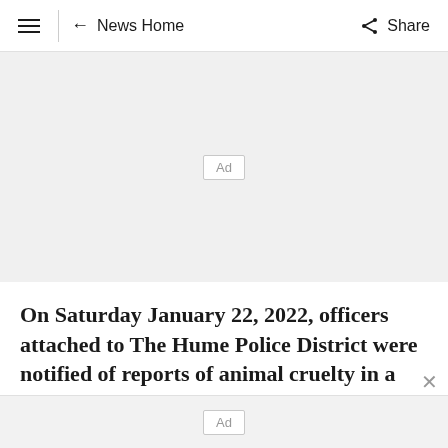≡  ← News Home    Share
[Figure (other): Advertisement placeholder area with 'Ad' label in a bordered box on a light grey background]
On Saturday January 22, 2022, officers attached to The Hume Police District were notified of reports of animal cruelty in a car
[Figure (other): Advertisement placeholder bar with 'Ad' label at bottom of page]